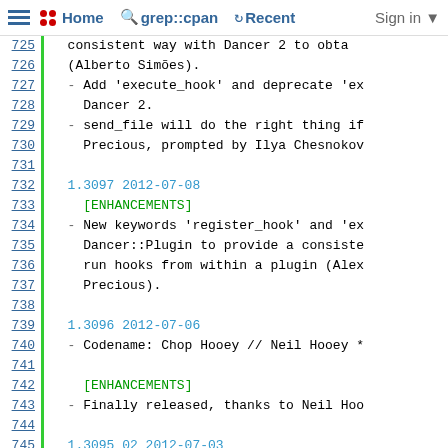Home  grep::cpan  Recent  Sign in
725  consistent way with Dancer 2 to obta
726  (Alberto Simões).
727  - Add 'execute_hook' and deprecate 'ex
728    Dancer 2.
729  - send_file will do the right thing if
730    Precious, prompted by Ilya Chesnokov
731
732  1.3097 2012-07-08
733    [ENHANCEMENTS]
734  - New keywords 'register_hook' and 'ex
735    Dancer::Plugin to provide a consiste
736    run hooks from within a plugin (Alex
737    Precious).
738
739  1.3096 2012-07-06
740  - Codename: Chop Hooey // Neil Hooey *
741
742    [ENHANCEMENTS]
743  - Finally released, thanks to Neil Hoo
744
745  1.3095_02 2012-07-03
746    [BUG FIXES]
747  - fix exception tests in some cases (G
748
749    [DOCUMENTATION]
750  - Clarify serialization in introductio